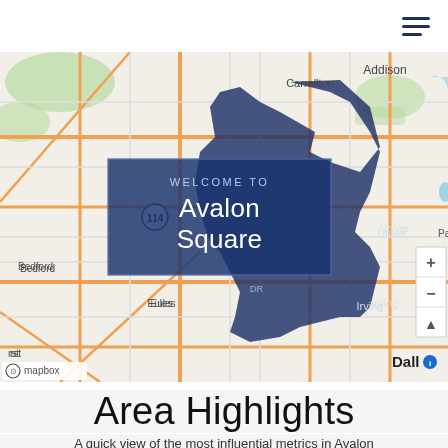Navigation menu (hamburger icon)
[Figure (map): Mapbox street map centered on Irving, Texas area showing Avalon Square neighborhood boundary highlighted in dark navy blue. Surrounding areas visible include Carrollton, Addison, Bedford, Euless, Irving, and Dallas. Map includes zoom controls and Mapbox attribution. Overlay box reads WELCOME TO Avalon Square.]
Area Highlights
A quick view of the most influential metrics in Avalon Square